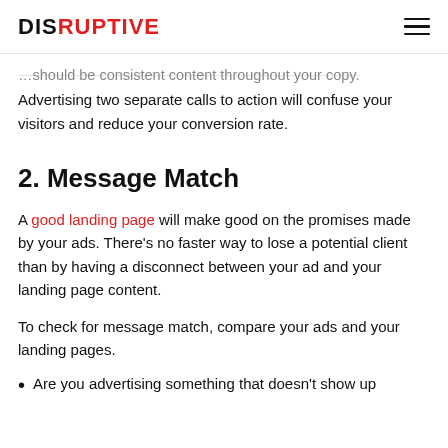DISRUPTIVE
…should be consistent content throughout your copy. Advertising two separate calls to action will confuse your visitors and reduce your conversion rate.
2. Message Match
A good landing page will make good on the promises made by your ads. There's no faster way to lose a potential client than by having a disconnect between your ad and your landing page content.
To check for message match, compare your ads and your landing pages.
Are you advertising something that doesn't show up